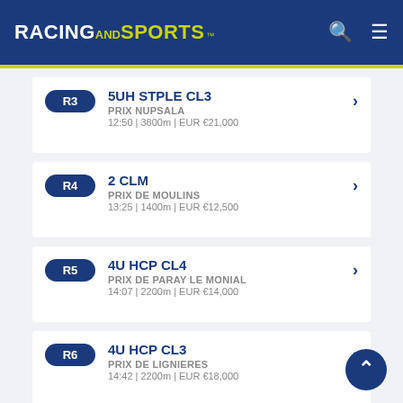RACING AND SPORTS
R3 | 5UH STPLE CL3 | PRIX NUPSALA | 12:50 | 3800m | EUR €21,000
R4 | 2 CLM | PRIX DE MOULINS | 13:25 | 1400m | EUR €12,500
R5 | 4U HCP CL4 | PRIX DE PARAY LE MONIAL | 14:07 | 2200m | EUR €14,000
R6 | 4U HCP CL3 | PRIX DE LIGNIERES | 14:42 | 2200m | EUR €18,000
R7 | 3 [A] | PRIX VIDEO ROCK | 15:17 | 2400m | EUR €16,500